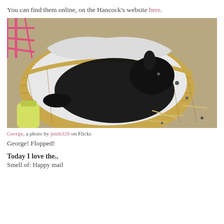You can find them online, on the Hancock's website here.
[Figure (photo): A black rabbit (named George) flopped inside a wicker basket lined with a white towel. A pink cage grid is visible in the upper left. The floor around the basket has scattered hay and debris.]
George, a photo by jenib320 on Flickr.
George! Flopped!
Today I love the..
Smell of: Happy mail